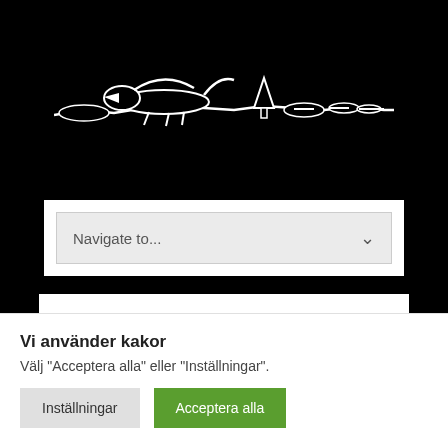[Figure (logo): Black background with white illustrated logo showing a bird/animal silhouette crawling along a landscape with trees and rolling hills]
[Figure (screenshot): Navigation dropdown UI element showing 'Navigate to...' with a chevron arrow on a light grey background]
Fler artiklar om: os i sotji
Vi använder kakor
Välj "Acceptera alla" eller "Inställningar".
Inställningar   Acceptera alla